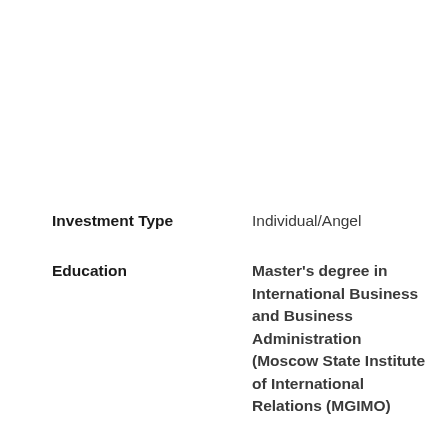Investment Type — Individual/Angel
Education — Master's degree in International Business and Business Administration (Moscow State Institute of International Relations (MGIMO)
Years active — 2011 - Present